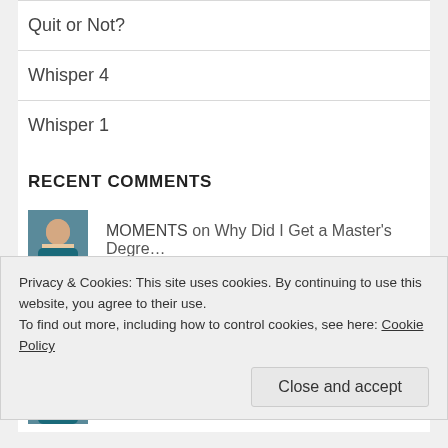Quit or Not?
Whisper 4
Whisper 1
RECENT COMMENTS
MOMENTS on Why Did I Get a Master's Degre…
Mario Savioni on Why Did I Get a Master's Degre…
MOMENTS on Another Nibble
Privacy & Cookies: This site uses cookies. By continuing to use this website, you agree to their use.
To find out more, including how to control cookies, see here: Cookie Policy
Close and accept